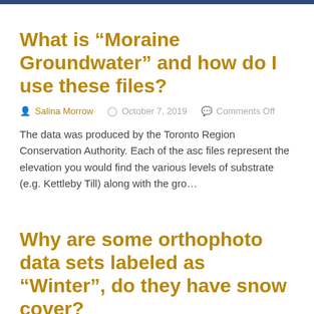What is “Moraine Groundwater” and how do I use these files?
Salina Morrow   October 7, 2019   Comments Off
The data was produced by the Toronto Region Conservation Authority. Each of the asc files represent the elevation you would find the various levels of substrate (e.g. Kettleby Till) along with the gro…
Why are some orthophoto data sets labeled as “Winter”, do they have snow cover?
Salina Morrow   October 7, 2019   Comments Off